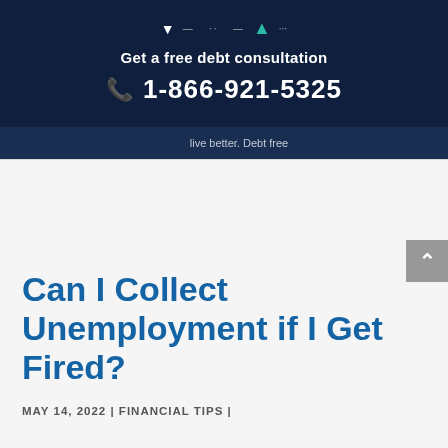Get a free debt consultation
1-866-921-5325
live better. Debt free
Can I Collect Unemployment if I Get Fired?
MAY 14, 2022 | FINANCIAL TIPS |